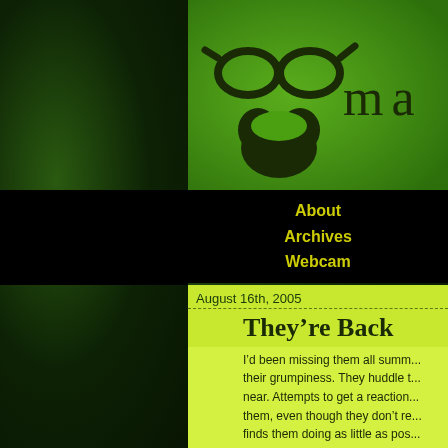[Figure (logo): Blog logo with glasses and beard icons, site title 'mac' partially visible, on green background]
About
Archives
Webcam
August 16th, 2005
They’re Back
I’d been missing them all summ... their grumpiness. They huddle t... near. Attempts to get a reaction... them, even though they don’t re... finds them doing as little as pos... having a rough day, I make a po...
Students? No, no, no. Oh, my m...